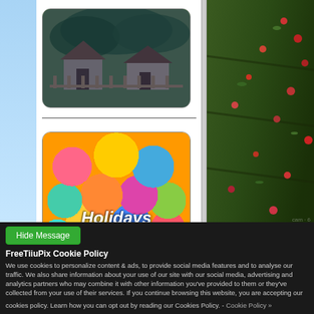[Figure (photo): Historical Events & Locations banner with thatched-roof buildings and yellow title text]
[Figure (photo): Holidays Annual Celebrations banner with colorful Easter eggs]
[Figure (photo): Partial image of woven/straw material at bottom of left column]
[Figure (photo): Large right-column photo of a garden field with dark soil and red berries/vegetables]
Hide Message
FreeTiiuPix Cookie Policy
We use cookies to personalize content & ads, to provide social media features and to analyse our traffic. We also share information about your use of our site with our social media, advertising and analytics partners who may combine it with other information you've provided to them or they've collected from your use of their services. If you continue browsing this website, you are accepting our
cookies policy. Learn how you can opt out by reading our Cookies Policy. - Cookie Policy »